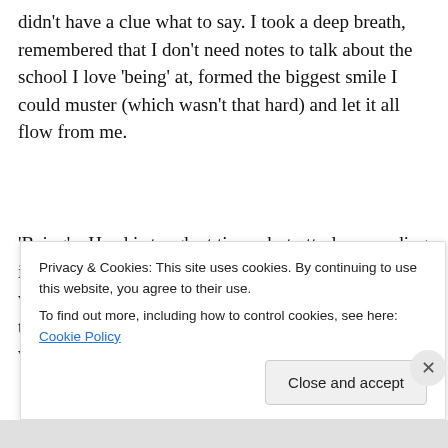didn't have a clue what to say. I took a deep breath, remembered that I don't need notes to talk about the school I love 'being' at, formed the biggest smile I could muster (which wasn't that hard) and let it all flow from me.
'Being' a Head is tough at times, but utterly rewarding in so many ways. The same is true for all of us working in schools. Sometimes the more that we think and worry about it, the less 'well' we feel. But we don't need bolted
Privacy & Cookies: This site uses cookies. By continuing to use this website, you agree to their use.
To find out more, including how to control cookies, see here: Cookie Policy